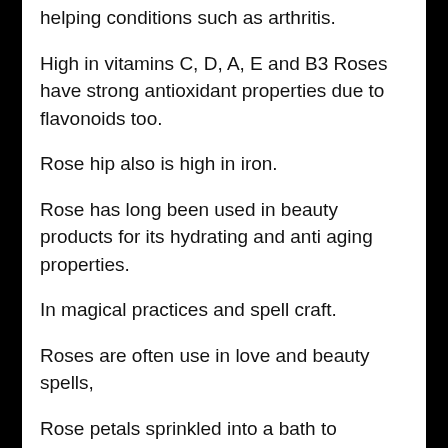helping conditions such as arthritis.
High in vitamins C, D, A, E and B3 Roses have strong antioxidant properties due to flavonoids too.
Rose hip also is high in iron.
Rose has long been used in beauty products for its hydrating and anti aging properties.
In magical practices and spell craft.
Roses are often use in love and beauty spells,
Rose petals sprinkled into a bath to enhance self love and bring you into a better sense of being.